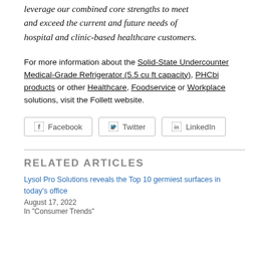leverage our combined core strengths to meet and exceed the current and future needs of hospital and clinic-based healthcare customers.
For more information about the Solid-State Undercounter Medical-Grade Refrigerator (5.5 cu ft capacity), PHCbi products or other Healthcare, Foodservice or Workplace solutions, visit the Follett website.
[Figure (other): Social sharing buttons: Facebook, Twitter, LinkedIn]
RELATED ARTICLES
Lysol Pro Solutions reveals the Top 10 germiest surfaces in today's office
August 17, 2022